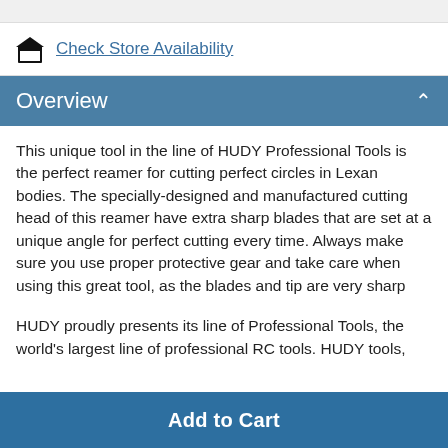Check Store Availability
Overview
This unique tool in the line of HUDY Professional Tools is the perfect reamer for cutting perfect circles in Lexan bodies. The specially-designed and manufactured cutting head of this reamer have extra sharp blades that are set at a unique angle for perfect cutting every time. Always make sure you use proper protective gear and take care when using this great tool, as the blades and tip are very sharp
HUDY proudly presents its line of Professional Tools, the world's largest line of professional RC tools. HUDY tools,
Add to Cart